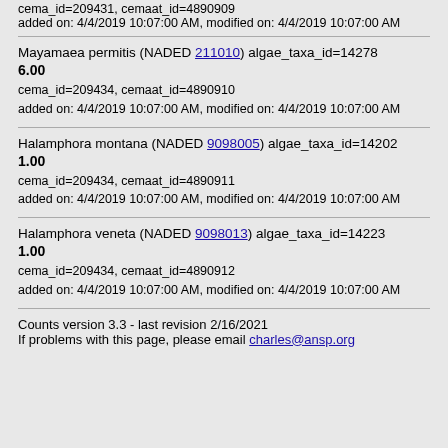cema_id=209431, cemaat_id=4890909
added on: 4/4/2019 10:07:00 AM, modified on: 4/4/2019 10:07:00 AM
Mayamaea permitis (NADED 211010) algae_taxa_id=14278
6.00
cema_id=209434, cemaat_id=4890910
added on: 4/4/2019 10:07:00 AM, modified on: 4/4/2019 10:07:00 AM
Halamphora montana (NADED 9098005) algae_taxa_id=14202
1.00
cema_id=209434, cemaat_id=4890911
added on: 4/4/2019 10:07:00 AM, modified on: 4/4/2019 10:07:00 AM
Halamphora veneta (NADED 9098013) algae_taxa_id=14223
1.00
cema_id=209434, cemaat_id=4890912
added on: 4/4/2019 10:07:00 AM, modified on: 4/4/2019 10:07:00 AM
Counts version 3.3 - last revision 2/16/2021
If problems with this page, please email charles@ansp.org